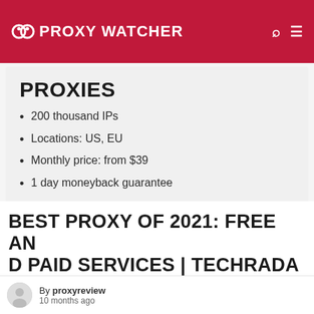PROXY WATCHER
PROXIES
200 thousand IPs
Locations: US, EU
Monthly price: from $39
1 day moneyback guarantee
Visit stormproxies.com
BEST PROXY OF 2021: FREE AND PAID SERVICES | TECHRADA
By proxyreview
10 months ago